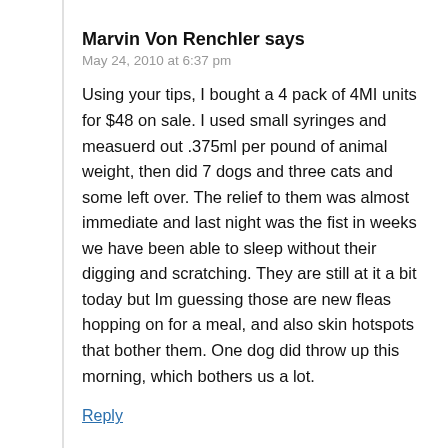Marvin Von Renchler says
May 24, 2010 at 6:37 pm
Using your tips, I bought a 4 pack of 4MI units for $48 on sale. I used small syringes and measuerd out .375ml per pound of animal weight, then did 7 dogs and three cats and some left over. The relief to them was almost immediate and last night was the fist in weeks we have been able to sleep without their digging and scratching. They are still at it a bit today but Im guessing those are new fleas hopping on for a meal, and also skin hotspots that bother them. One dog did throw up this morning, which bothers us a lot.
Reply